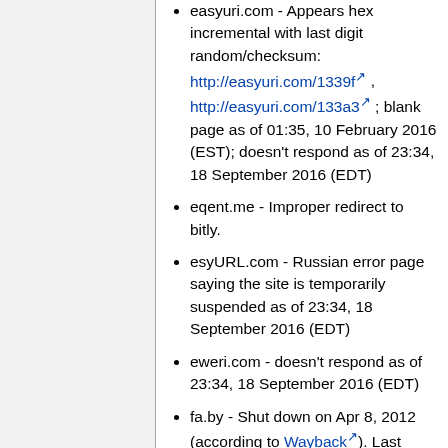easyuri.com - Appears hex incremental with last digit random/checksum: http://easyuri.com/1339f , http://easyuri.com/133a3 ; blank page as of 01:35, 10 February 2016 (EST); doesn't respond as of 23:34, 18 September 2016 (EDT)
eqent.me - Improper redirect to bitly.
esyURL.com - Russian error page saying the site is temporarily suspended as of 23:34, 18 September 2016 (EDT)
eweri.com - doesn't respond as of 23:34, 18 September 2016 (EDT)
fa.by - Shut down on Apr 8, 2012 (according to Wayback). Last checked 01:22, 17 February 2016 (EST)
feedzil.la - Domain parked; server